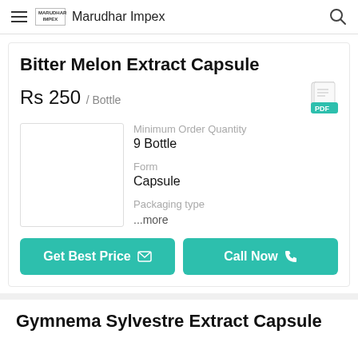Marudhar Impex
Bitter Melon Extract Capsule
Rs 250 / Bottle
[Figure (photo): Product image placeholder (white box with border)]
Minimum Order Quantity
9 Bottle
Form
Capsule
Packaging type
...more
Get Best Price
Call Now
Gymnema Sylvestre Extract Capsule